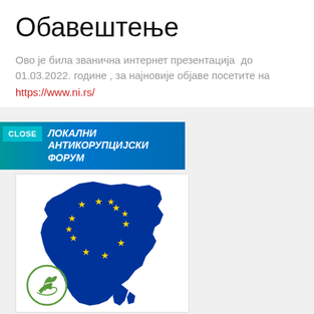Обавештење
Ово је била званична интернет презентација  до 01.03.2022. године , за најновије објаве посетите на https://www.ni.rs/
[Figure (infographic): Banner for Lokalni Antikorupcijski Forum with CLOSE button, teal and blue background]
[Figure (illustration): Map of Western Balkans region filled with EU blue color and yellow EU stars, with a green circular eco logo in the bottom left corner]